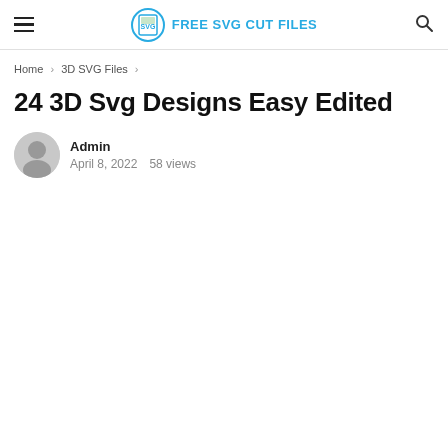FREE SVG CUT FILES
Home > 3D SVG Files >
24 3D Svg Designs Easy Edited
Admin
April 8, 2022   58 views